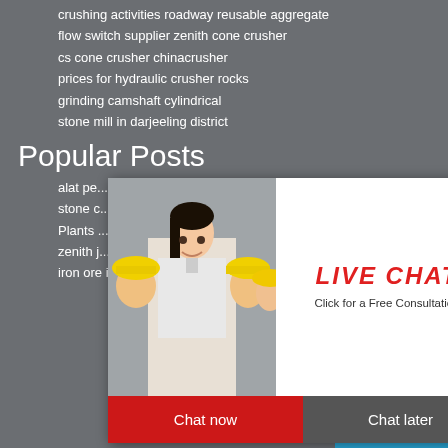crushing activities roadway reusable aggregate
flow switch supplier zenith cone crusher
cs cone crusher chinacrusher
prices for hydraulic crusher rocks
grinding camshaft cylindrical
stone mill in darjeeling district
Popular Posts
alat pe...
stone c...
Plants ...
zenith j...
iron ore indonesia mining project
[Figure (screenshot): Live chat popup overlay showing workers in hard hats, LIVE CHAT text in red italic, 'Click for a Free Consultation' subtitle, red 'Chat now' button and dark 'Chat later' button]
[Figure (screenshot): Right sidebar on blue background showing 'hour online', industrial crusher machine image, 'Click me to chat>>' button, 'Enquiry' heading, and 'limingjlmofen' text]